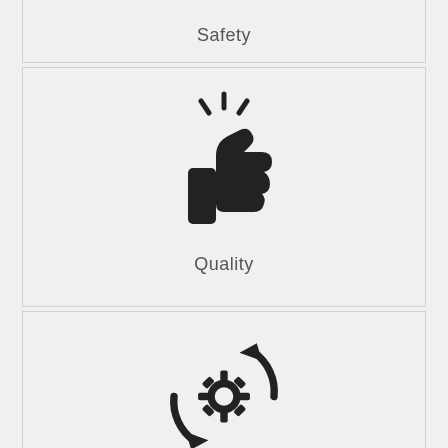[Figure (illustration): Thumbs-up icon with sparkle lines above it, representing Quality]
Safety
Quality
[Figure (illustration): Gear/cog inside a circular refresh/cycle arrow icon, representing Integrity]
Integrity